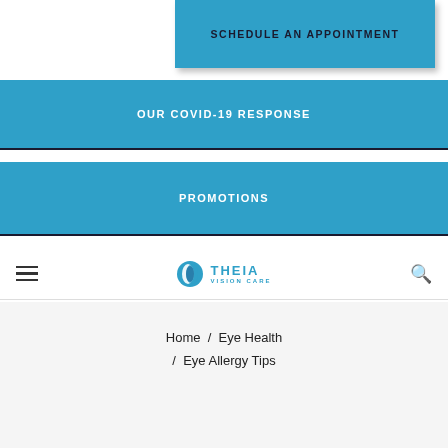SCHEDULE AN APPOINTMENT
OUR COVID-19 RESPONSE
PROMOTIONS
[Figure (logo): Theia Vision Care logo with stylized eye icon and text THEIA VISION CARE]
Home / Eye Health / Eye Allergy Tips
Eye Health
Eye Allergy Tips